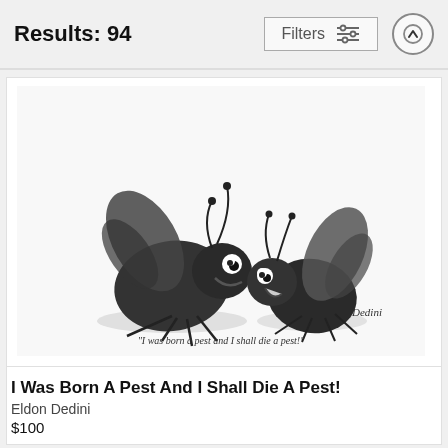Results: 94
[Figure (illustration): Cartoon illustration of two anthropomorphized insects (bugs) with wings and antennae facing each other. Caption reads: "I was born a pest and I shall die a pest!" Signed by Dedini.]
I Was Born A Pest And I Shall Die A Pest!
Eldon Dedini
$100
[Figure (illustration): Partial thumbnail of a cartoon illustration at bottom left.]
[Figure (illustration): Partial thumbnail of an artwork with grid/geometric pattern at bottom right.]